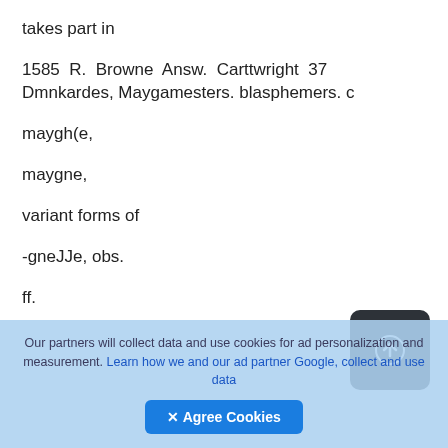takes part in
1585  R.  Browne  Answ.  Carttwright  37  Dmnkardes, Maygamesters. blasphemers. c
maygh(e,
maygne,
variant forms of
-gneJJe, obs.
ff.
Our partners will collect data and use cookies for ad personalization and measurement. Learn how we and our ad partner Google, collect and use data
✕ Agree Cookies